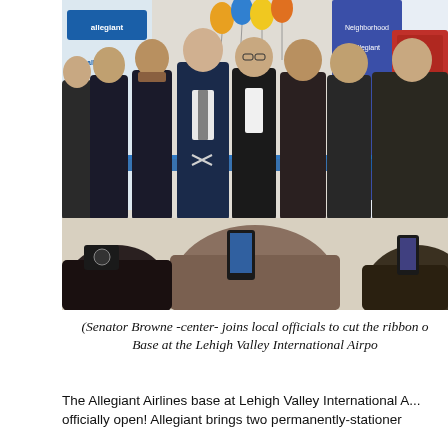[Figure (photo): Group of people in suits cutting a blue ribbon at an Allegiant Airlines ceremony at Lehigh Valley International Airport. Colorful balloons in background, Allegiant branding visible. Audience in foreground photographing the event.]
(Senator Browne -center- joins local officials to cut the ribbon on Allegiant's new Crew Base at the Lehigh Valley International Airport)
The Allegiant Airlines base at Lehigh Valley International A... officially open! Allegiant brings two permanently-stationed...